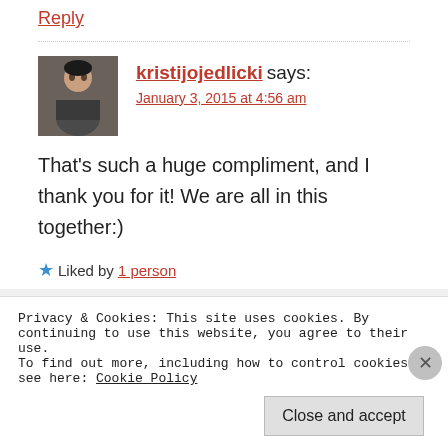Reply
[Figure (photo): Avatar photo of user kristijojedlicki — person at a social event]
kristijojedlicki says:
January 3, 2015 at 4:56 am
That's such a huge compliment, and I thank you for it! We are all in this together:)
★ Liked by 1 person
Privacy & Cookies: This site uses cookies. By continuing to use this website, you agree to their use.
To find out more, including how to control cookies, see here: Cookie Policy
Close and accept